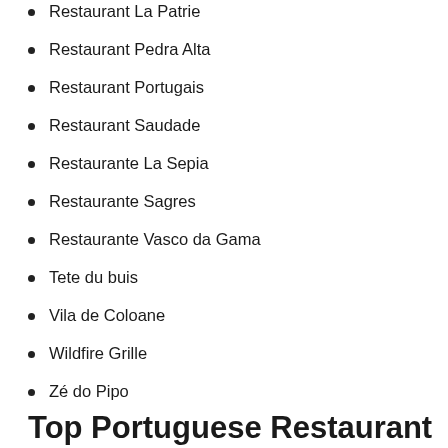Restaurant La Patrie
Restaurant Pedra Alta
Restaurant Portugais
Restaurant Saudade
Restaurante La Sepia
Restaurante Sagres
Restaurante Vasco da Gama
Tete du buis
Vila de Coloane
Wildfire Grille
Zé do Pipo
Top Portuguese Restaurant